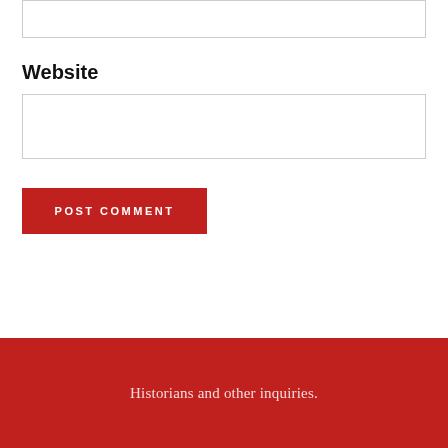Website
POST COMMENT
Historians and other inquiries.